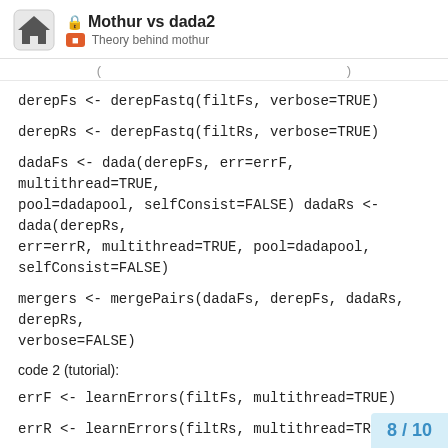🔒 Mothur vs dada2 — Theory behind mothur
( ... )
derepFs <- derepFastq(filtFs, verbose=TRUE)
derepRs <- derepFastq(filtRs, verbose=TRUE)
dadaFs <- dada(derepFs, err=errF, multithread=TRUE, pool=dadapool, selfConsist=FALSE) dadaRs <- dada(derepRs, err=errR, multithread=TRUE, pool=dadapool, selfConsist=FALSE)
mergers <- mergePairs(dadaFs, derepFs, dadaRs, derepRs, verbose=FALSE)
code 2 (tutorial):
errF <- learnErrors(filtFs, multithread=TRUE)
errR <- learnErrors(filtRs, multithread=TRUE)
dadaFs <- dada(filtFs, err=errF, multithread=...
8 / 10